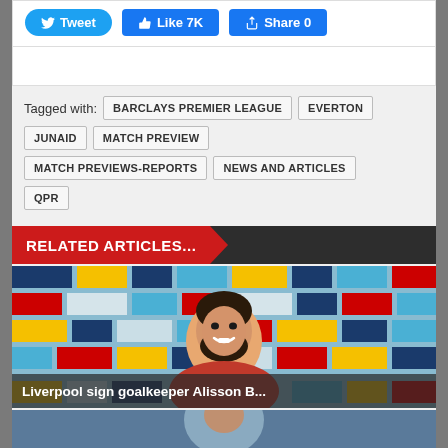[Figure (screenshot): Social share buttons: Tweet, Like 7K, Share 0]
Tagged with: BARCLAYS PREMIER LEAGUE  EVERTON  JUNAID  MATCH PREVIEW  MATCH PREVIEWS-REPORTS  NEWS AND ARTICLES  QPR
RELATED ARTICLES...
[Figure (photo): Liverpool goalkeeper Alisson Becker smiling at press conference with Liverpool FC branded backdrop. Caption: Liverpool sign goalkeeper Alisson B...]
[Figure (photo): Partial photo of footballer, blurred background]